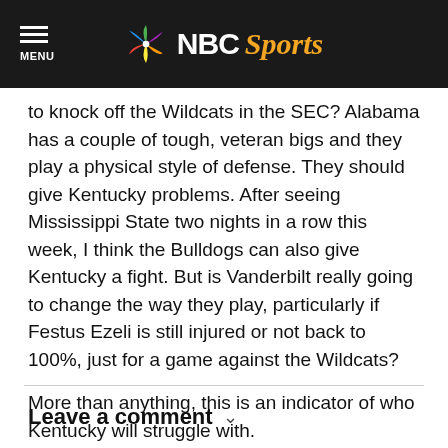NBC Sports
to knock off the Wildcats in the SEC? Alabama has a couple of tough, veteran bigs and they play a physical style of defense. They should give Kentucky problems. After seeing Mississippi State two nights in a row this week, I think the Bulldogs can also give Kentucky a fight. But is Vanderbilt really going to change the way they play, particularly if Festus Ezeli is still injured or not back to 100%, just for a game against the Wildcats?
More than anything, this is an indicator of who Kentucky will struggle with.
But its also a perfect teaching point for Calipari. Watching
Read More
Leave a comment